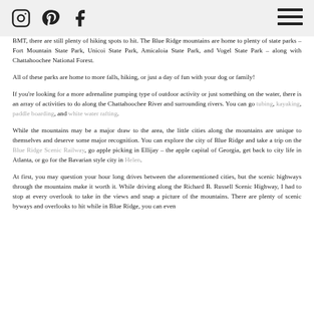Navigation bar with social media icons (Instagram, Pinterest, Facebook) and hamburger menu
BMT, there are still plenty of hiking spots to hit. The Blue Ridge mountains are home to plenty of state parks – Fort Mountain State Park, Unicoi State Park, Amicaloia State Park, and Vogel State Park – along with Chattahoochee National Forest.
All of these parks are home to more falls, hiking, or just a day of fun with your dog or family!
If you're looking for a more adrenaline pumping type of outdoor activity or just something on the water, there is an array of activities to do along the Chattahoochee River and surrounding rivers. You can go tubing, kayaking, paddle boarding, and white water rafting.
While the mountains may be a major draw to the area, the little cities along the mountains are unique to themselves and deserve some major recognition. You can explore the city of Blue Ridge and take a trip on the Blue Ridge Scenic Railway, go apple picking in Ellijay – the apple capital of Georgia, get back to city life in Atlanta, or go for the Bavarian style city in Helen.
At first, you may question your hour long drives between the aforementioned cities, but the scenic highways through the mountains make it worth it. While driving along the Richard B. Russell Scenic Highway, I had to stop at every overlook to take in the views and snap a picture of the mountains. There are plenty of scenic byways and overlooks to hit while in Blue Ridge, you can even